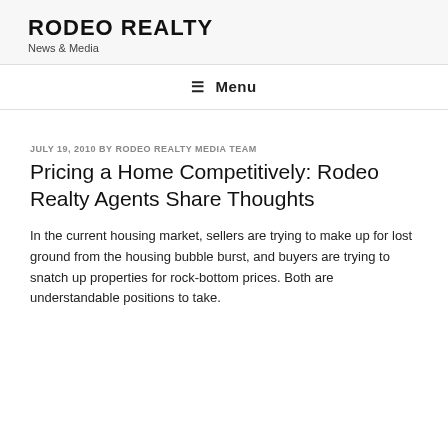RODEO REALTY
News & Media
☰ Menu
JULY 19, 2010 BY RODEO REALTY MEDIA TEAM
Pricing a Home Competitively: Rodeo Realty Agents Share Thoughts
In the current housing market, sellers are trying to make up for lost ground from the housing bubble burst, and buyers are trying to snatch up properties for rock-bottom prices. Both are understandable positions to take.